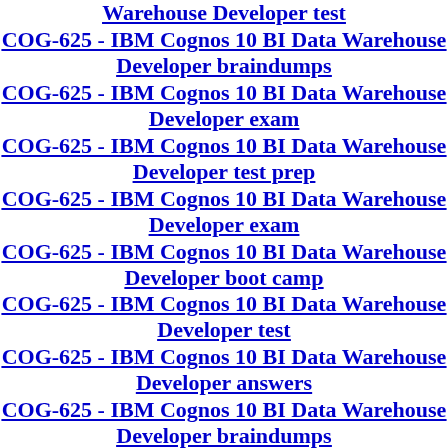Warehouse Developer test
COG-625 - IBM Cognos 10 BI Data Warehouse Developer braindumps
COG-625 - IBM Cognos 10 BI Data Warehouse Developer exam
COG-625 - IBM Cognos 10 BI Data Warehouse Developer test prep
COG-625 - IBM Cognos 10 BI Data Warehouse Developer exam
COG-625 - IBM Cognos 10 BI Data Warehouse Developer boot camp
COG-625 - IBM Cognos 10 BI Data Warehouse Developer test
COG-625 - IBM Cognos 10 BI Data Warehouse Developer answers
COG-625 - IBM Cognos 10 BI Data Warehouse Developer braindumps